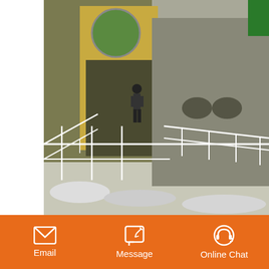[Figure (photo): Industrial stone crusher machine (PE series jaw crusher) with a worker standing on a platform with white metal railings, industrial equipment visible in background]
pe series jaws stone crusher pe
[Figure (other): Rocket/notification button icon in a rounded square]
Get in Touch
Email   Message   Online Chat